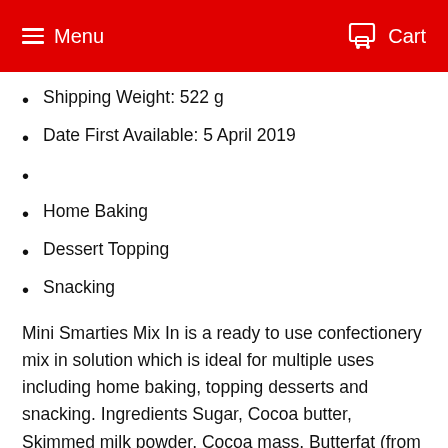Menu  Cart
Shipping Weight: 522 g
Date First Available: 5 April 2019
Home Baking
Dessert Topping
Snacking
Mini Smarties Mix In is a ready to use confectionery mix in solution which is ideal for multiple uses including home baking, topping desserts and snacking. Ingredients Sugar, Cocoa butter, Skimmed milk powder, Cocoa mass, Butterfat (from Milk), Wheat flour, Lactose and proteins from whey (from Milk), Rice starch, Emulsifier (Sunflower lecithin), Fruit and vegetable concentrates (Safflower, Radish, Black carrot, Lemon, Hibiscus), Spirulina concentrate, Glazing agents (Carnauba